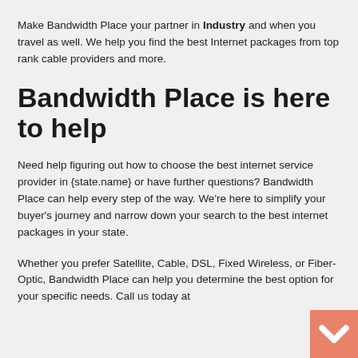Make Bandwidth Place your partner in Industry and when you travel as well. We help you find the best Internet packages from top rank cable providers and more.
Bandwidth Place is here to help
Need help figuring out how to choose the best internet service provider in {state.name} or have further questions? Bandwidth Place can help every step of the way. We're here to simplify your buyer's journey and narrow down your search to the best internet packages in your state.
Whether you prefer Satellite, Cable, DSL, Fixed Wireless, or Fiber-Optic, Bandwidth Place can help you determine the best option for your specific needs. Call us today at